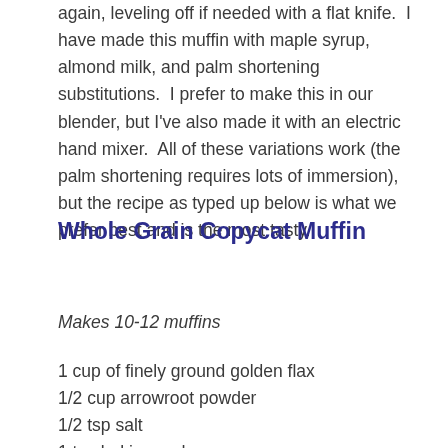again, leveling off if needed with a flat knife.  I have made this muffin with maple syrup, almond milk, and palm shortening substitutions.  I prefer to make this in our blender, but I've also made it with an electric hand mixer.  All of these variations work (the palm shortening requires lots of immersion), but the recipe as typed up below is what we prefer best and is the most tasty.
Whole Grain Copycat Muffin
Makes 10-12 muffins
1 cup of finely ground golden flax
1/2 cup arrowroot powder
1/2 tsp salt
1 tsp baking soda
2 T whole chia seeds
2 T chopped sunflower seeds
3 eggs